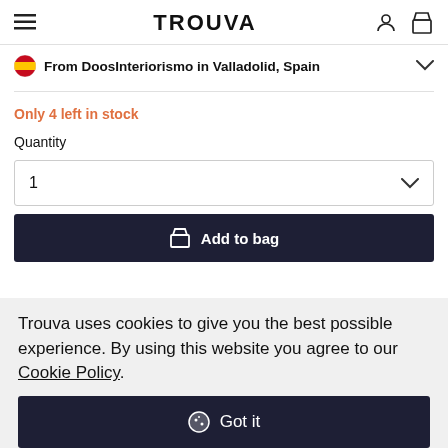TROUVA
From DoosInteriorismo in Valladolid, Spain
Only 4 left in stock
Quantity
1
Add to bag
Trouva uses cookies to give you the best possible experience. By using this website you agree to our Cookie Policy.
Got it